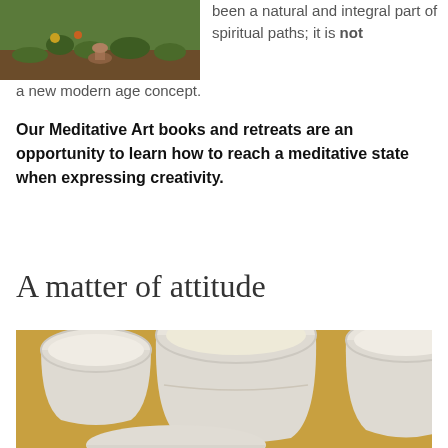[Figure (photo): Garden photo showing plants with colorful flowers/mushrooms in soil]
been a natural and integral part of spiritual paths; it is not a new modern age concept.
Our Meditative Art books and retreats are an opportunity to learn how to reach a meditative state when expressing creativity.
A matter of attitude
[Figure (photo): Close-up photo of white ceramic cups/bowls on a yellow surface]